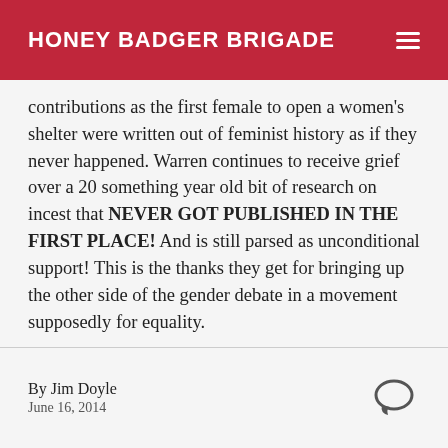HONEY BADGER BRIGADE
contributions as the first female to open a women's shelter were written out of feminist history as if they never happened. Warren continues to receive grief over a 20 something year old bit of research on incest that NEVER GOT PUBLISHED IN THE FIRST PLACE! And is still parsed as unconditional support! This is the thanks they get for bringing up the other side of the gender debate in a movement supposedly for equality.
By Jim Doyle
June 16, 2014